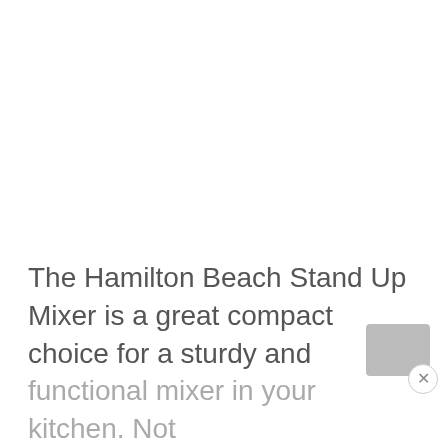The Hamilton Beach Stand Up Mixer is a great compact choice for a sturdy and functional mixer in your kitchen. Not